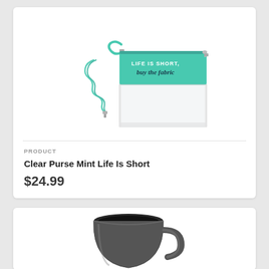[Figure (photo): A mint/teal clear purse with a wrist strap and a detachable crossbody strap. The top portion is mint green with text 'LIFE IS SHORT, buy the fabric'. The bottom half is clear/transparent vinyl.]
PRODUCT
Clear Purse Mint Life Is Short
$24.99
[Figure (photo): A dark gray/charcoal ceramic coffee mug with a black interior, partially visible at the bottom of the page.]